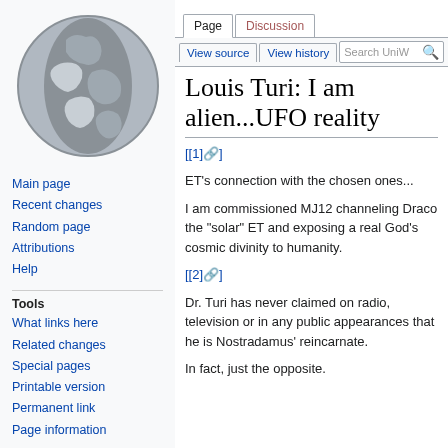Log in
[Figure (illustration): Globe/world map logo icon in grey tones, used as Wikipedia-style site logo]
Main page
Recent changes
Random page
Attributions
Help
Tools
What links here
Related changes
Special pages
Printable version
Permanent link
Page information
Louis Turi: I am alien...UFO reality
[[1]]
ET's connection with the chosen ones...
I am commissioned MJ12 channeling Draco the "solar" ET and exposing a real God's cosmic divinity to humanity.
[[2]]
Dr. Turi has never claimed on radio, television or in any public appearances that he is Nostradamus' reincarnate.
In fact, just the opposite.